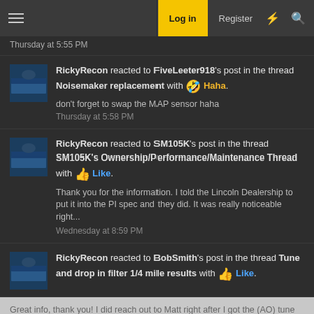Log in | Register
Thursday at 5:55 PM
RickyRecon reacted to FiveLeeter918's post in the thread Noisemaker replacement with 🤣 Haha.
don't forget to swap the MAP sensor haha
Thursday at 5:58 PM
RickyRecon reacted to SM105K's post in the thread SM105K's Ownership/Performance/Maintenance Thread with 👍 Like.
Thank you for the information. I told the Lincoln Dealership to put it into the PI spec and they did. It was really noticeable right...
Wednesday at 8:59 PM
RickyRecon reacted to BobSmith's post in the thread Tune and drop in filter 1/4 mile results with 👍 Like.
Great info, thank you! I did reach out to Matt right after I got the (AO) tune and he said I could definitely add a splash of e85...